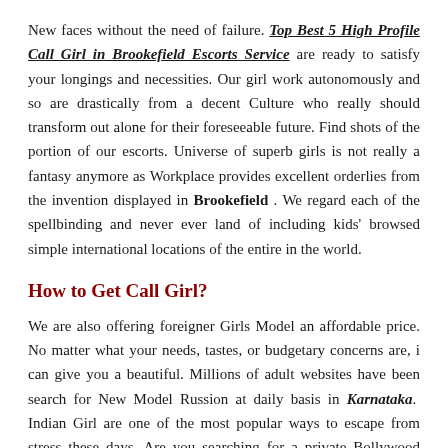New faces without the need of failure. Top Best 5 High Profile Call Girl in Brookefield Escorts Service are ready to satisfy your longings and necessities. Our girl work autonomously and so are drastically from a decent Culture who really should transform out alone for their foreseeable future. Find shots of the portion of our escorts. Universe of superb girls is not really a fantasy anymore as Workplace provides excellent orderlies from the invention displayed in Brookefield . We regard each of the spellbinding and never ever land of including kids' browsed simple international locations of the entire in the world.
How to Get Call Girl?
We are also offering foreigner Girls Model an affordable price. No matter what your needs, tastes, or budgetary concerns are, i can give you a beautiful. Millions of adult websites have been search for New Model Russion at daily basis in Karnataka. Indian Girl are one of the most popular ways to escape from stress these days. Are you searching for a private Bollywood Hukkup? Our Hupsi girls can travel providing